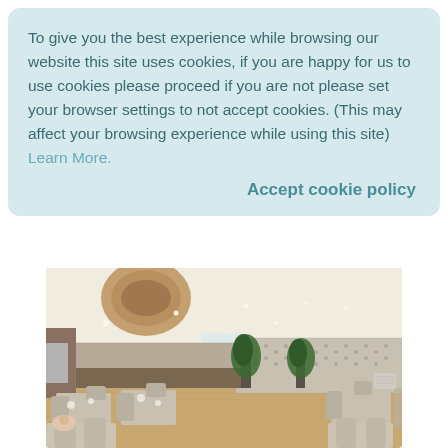To give you the best experience while browsing our website this site uses cookies, if you are happy for us to use cookies please proceed if you are not please set your browser settings to not accept cookies. (This may affect your browsing experience while using this site) Learn More.
Accept cookie policy
[Figure (photo): Interior photo of a bright, modern restaurant dining room with upholstered beige/grey chairs around set tables, a large circular ceiling feature, recessed lighting, patterned wallpaper on the far wall, and tall potted plants.]